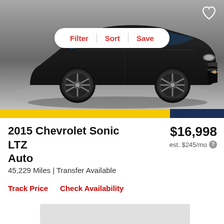[Figure (photo): Black 2015 Chevrolet Sonic LTZ Auto hatchback photographed from the front-left angle on a gray studio background]
Filter  |  Sort  |  Save
2015 Chevrolet Sonic LTZ Auto
$16,998
est. $245/mo
45,229 Miles | Transfer Available
Track Price   Check Availability